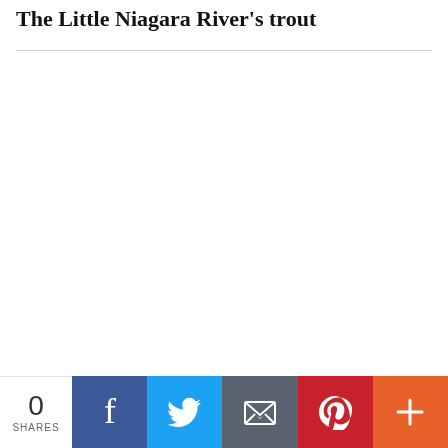The Little Niagara River's trout
0
SHARES